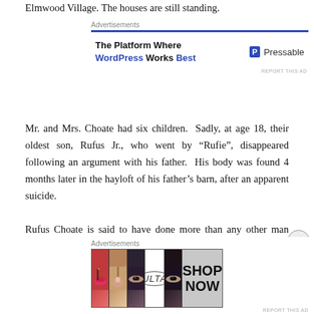Elmwood Village. The houses are still standing.
[Figure (infographic): Advertisement banner for Pressable WordPress hosting. Blue bar at top, text 'The Platform Where WordPress Works Best' on left, Pressable logo on right.]
Mr. and Mrs. Choate had six children. Sadly, at age 18, their oldest son, Rufus Jr., who went by “Rufie”, disappeared following an argument with his father. His body was found 4 months later in the hayloft of his father’s barn, after an apparent suicide.
Rufus Choate is said to have done more than any other man toward building up South Buffalo. He was instrumental in creating Cazenovia Park, as well as South
[Figure (infographic): Advertisement banner for ULTA Beauty with makeup images (lips, brush, eyes) and SHOP NOW text.]